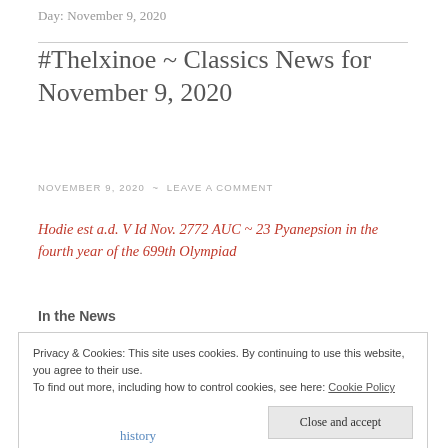Day: November 9, 2020
#Thelxinoe ~ Classics News for November 9, 2020
NOVEMBER 9, 2020 ~ LEAVE A COMMENT
Hodie est a.d. V Id Nov. 2772 AUC ~ 23 Pyanepsion in the fourth year of the 699th Olympiad
In the News
Privacy & Cookies: This site uses cookies. By continuing to use this website, you agree to their use.
To find out more, including how to control cookies, see here: Cookie Policy
Close and accept
history